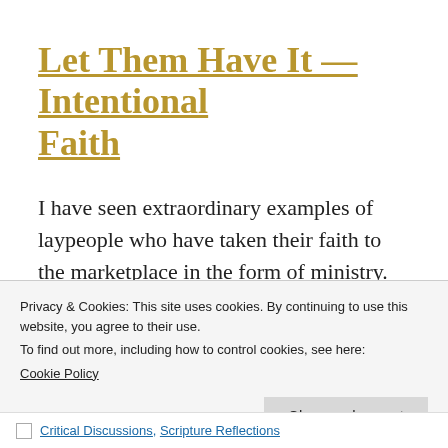Let Them Have It — Intentional Faith
I have seen extraordinary examples of laypeople who have taken their faith to the marketplace in the form of ministry. Charles Colson went from the White House to prison. When he was released from prison, he was not released from ministry. Indeed, from his
Privacy & Cookies: This site uses cookies. By continuing to use this website, you agree to their use.
To find out more, including how to control cookies, see here:
Cookie Policy
Close and accept
Critical Discussions, Scripture Reflections